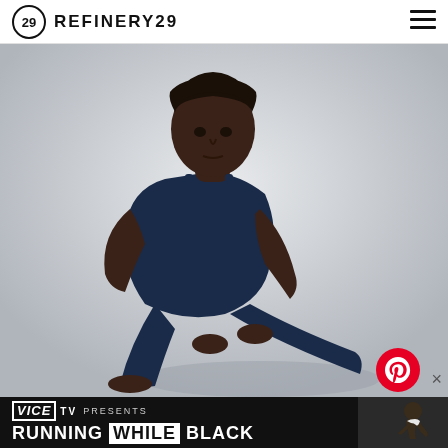REFINERY29
[Figure (photo): A plus-size Black woman in a navy blue athletic tank top and leggings performing a yoga/stretching pose against a light grey background. She is squatting with one leg extended, hands on the floor, looking directly at the camera.]
[Figure (logo): Pinterest red circular logo button]
[Figure (screenshot): VICE TV advertisement banner - VICE TV PRESENTS RUNNING WHILE BLACK, with a man running in the background on the right side]